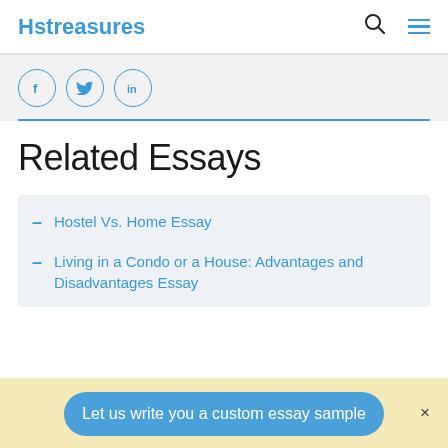Hstreasures
[Figure (other): Social share icons: Facebook, Twitter, LinkedIn circles]
Related Essays
Hostel Vs. Home Essay
Living in a Condo or a House: Advantages and Disadvantages Essay
Let us write you a custom essay sample